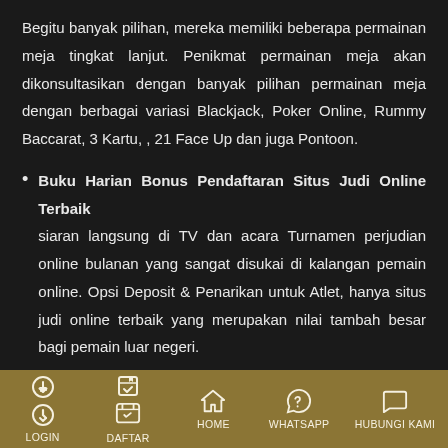Begitu banyak pilihan, mereka memiliki beberapa permainan meja tingkat lanjut. Penikmat permainan meja akan dikonsultasikan dengan banyak pilihan permainan meja dengan berbagai variasi Blackjack, Poker Online, Rummy Baccarat, 3 Kartu, , 21 Face Up dan juga Pontoon.
Buku Harian Bonus Pendaftaran Situs Judi Online Terbaik siaran langsung di TV dan acara Turnamen perjudian online bulanan yang sangat disukai di kalangan pemain online. Opsi Deposit & Penarikan untuk Atlet, hanya situs judi online terbaik yang merupakan nilai tambah besar bagi pemain luar negeri.
Keuntungan bermain judi online
Kenyamanan
LOGIN  DAFTAR  HOME  WHATSAPP  HUBUNGI KAMI